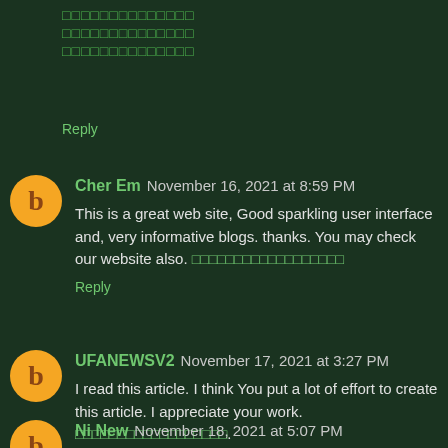□□□□□□□□□□□□□□
□□□□□□□□□□□□□□
□□□□□□□□□□□□□□
Reply
Cher Em November 16, 2021 at 8:59 PM
This is a great web site, Good sparkling user interface and, very informative blogs. thanks. You may check our website also. □□□□□□□□□□□□□□□□□□
Reply
UFANEWSV2 November 17, 2021 at 3:27 PM
I read this article. I think You put a lot of effort to create this article. I appreciate your work. □□□□□□□□□□□□□□□□□□.
Reply
Ni New November 18, 2021 at 5:07 PM